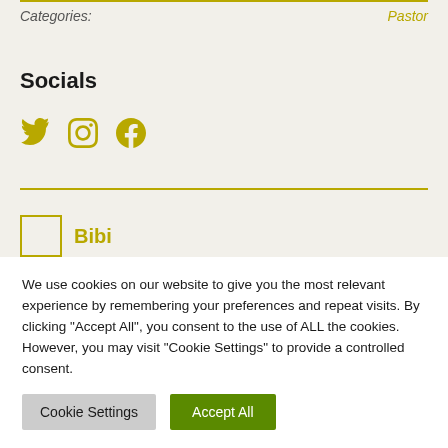Categories:   Pastor
Socials
[Figure (illustration): Three social media icons (Twitter bird, Instagram camera, Facebook f) in golden/yellow color]
Bibi
We use cookies on our website to give you the most relevant experience by remembering your preferences and repeat visits. By clicking “Accept All”, you consent to the use of ALL the cookies. However, you may visit "Cookie Settings" to provide a controlled consent.